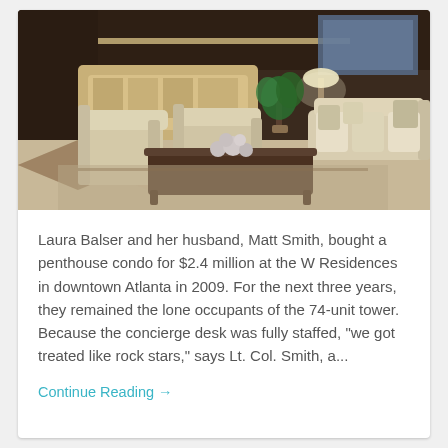[Figure (photo): Interior lobby or living room of the W Residences in downtown Atlanta, showing elegant furniture including cream-colored armchairs and sofa, a dark wood coffee table with decorative silver objects, a lamp, houseplant, patterned rug with brown and beige tones, and a reception desk area in the background.]
Laura Balser and her husband, Matt Smith, bought a penthouse condo for $2.4 million at the W Residences in downtown Atlanta in 2009. For the next three years, they remained the lone occupants of the 74-unit tower. Because the concierge desk was fully staffed, "we got treated like rock stars," says Lt. Col. Smith, a...
Continue Reading →